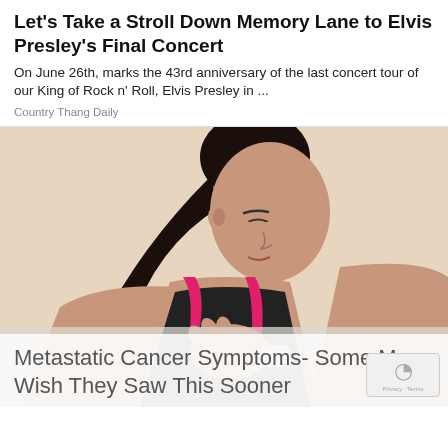Let's Take a Stroll Down Memory Lane to Elvis Presley's Final Concert
On June 26th, marks the 43rd anniversary of the last concert tour of our King of Rock n' Roll, Elvis Presley in ...
Country Thang Daily
[Figure (photo): Young woman in a black and pink sports bra pressing her hand to her chest, looking down, against a light beige background. Lower portion overlaid with a semi-transparent white banner.]
Metastatic Cancer Symptoms- Some May Wish They Saw This Sooner